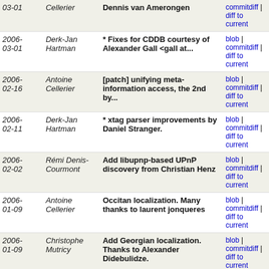| Date | Author | Message | Links |
| --- | --- | --- | --- |
| 03-01 | Cellerier | Dennis van Amerongen | blob | commitdiff | diff to current |
| 2006-03-01 | Derk-Jan Hartman | * Fixes for CDDB courtesy of Alexander Gall <gall at... | blob | commitdiff | diff to current |
| 2006-02-16 | Antoine Cellerier | [patch] unifying meta-information access, the 2nd by... | blob | commitdiff | diff to current |
| 2006-02-11 | Derk-Jan Hartman | * xtag parser improvements by Daniel Stranger. | blob | commitdiff | diff to current |
| 2006-02-02 | Rémi Denis-Courmont | Add libupnp-based UPnP discovery from Christian Henz | blob | commitdiff | diff to current |
| 2006-01-09 | Antoine Cellerier | Occitan localization. Many thanks to laurent jonqueres | blob | commitdiff | diff to current |
| 2006-01-09 | Christophe Mutricy | Add Georgian localization. Thanks to Alexander Didebulidze. | blob | commitdiff | diff to current |
| 2005-12-18 | Antoine Cellerier | Brightness threshold patch by Enrico Gueli (with some... | blob | commitdiff | diff to current |
| 2005-12-11 | Derk-Jan Hartman | * hebrew line order fixes. patch by Barak Ori (barakori... | blob | commitdiff | diff to current |
| 2005-12-09 | Rémi Denis-Courmont | Cumulated UPnP fixes from Christian Henz | blob | commitdiff | diff to current |
| 2005- | Antoine | typo fix | blob | |